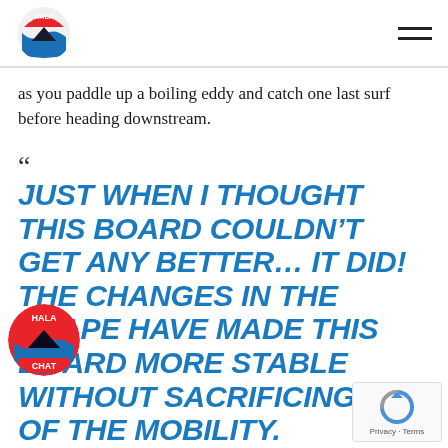HALA logo and navigation
as you paddle up a boiling eddy and catch one last surf before heading downstream.
“
JUST WHEN I THOUGHT THIS BOARD COULDN’T GET ANY BETTER… IT DID! THE CHANGES IN THE SHAPE HAVE MADE THIS BOARD MORE STABLE WITHOUT SACRIFICING ANY OF THE MOBILITY.